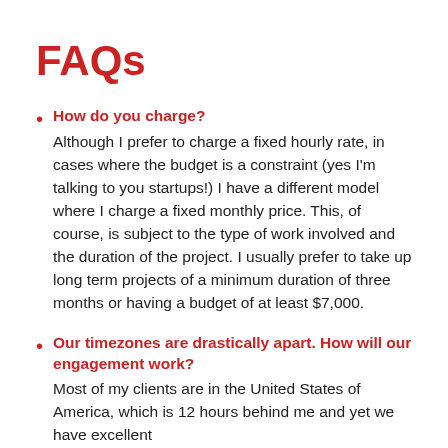FAQs
How do you charge?
Although I prefer to charge a fixed hourly rate, in cases where the budget is a constraint (yes I'm talking to you startups!) I have a different model where I charge a fixed monthly price. This, of course, is subject to the type of work involved and the duration of the project. I usually prefer to take up long term projects of a minimum duration of three months or having a budget of at least $7,000.
Our timezones are drastically apart. How will our engagement work?
Most of my clients are in the United States of America, which is 12 hours behind me and yet we have excellent